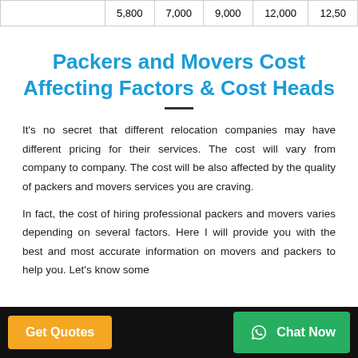|  | 5,800 | 7,000 | 9,000 | 12,000 | 12,500 |
| --- | --- | --- | --- | --- | --- |
|  | 5,800 | 7,000 | 9,000 | 12,000 | 12,500 |
Packers and Movers Cost Affecting Factors & Cost Heads
It's no secret that different relocation companies may have different pricing for their services. The cost will vary from company to company. The cost will be also affected by the quality of packers and movers services you are craving.
In fact, the cost of hiring professional packers and movers varies depending on several factors. Here I will provide you with the best and most accurate information on movers and packers to help you. Let's know some…